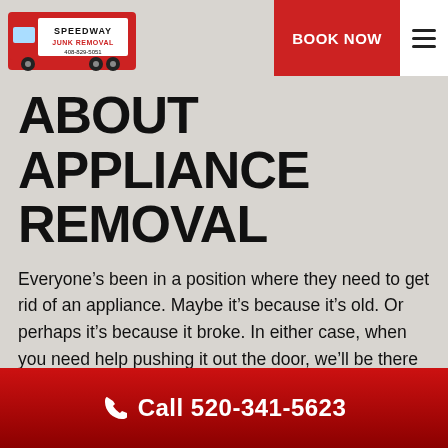[Figure (logo): Speedway Junk Removal logo with red truck, phone number 408-829-5051]
BOOK NOW
ABOUT APPLIANCE REMOVAL
Everyone's been in a position where they need to get rid of an appliance. Maybe it's because it's old. Or perhaps it's because it broke. In either case, when you need help pushing it out the door, we'll be there to do all the heavy lifting for you. We haul appliances such as:
Call 520-341-5623